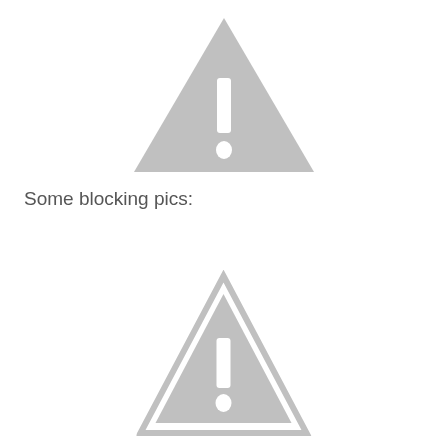[Figure (illustration): A grey warning triangle icon with an exclamation mark, shown without a border outline, positioned in the upper center of the page.]
Some blocking pics:
[Figure (illustration): A grey warning triangle icon with an exclamation mark, shown with a visible outline border, positioned in the lower center of the page.]